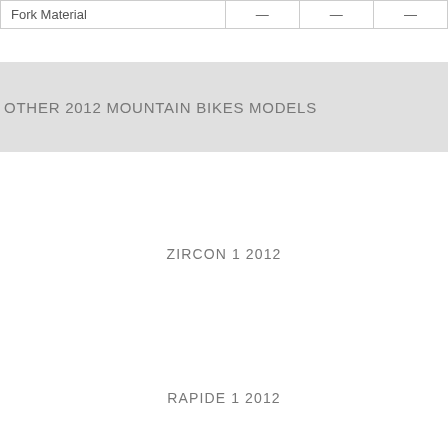| Fork Material | — | — | — |
OTHER 2012 MOUNTAIN BIKES MODELS
ZIRCON 1 2012
RAPIDE 1 2012